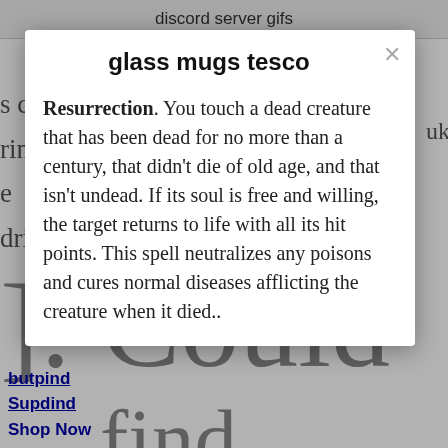discord server gifs
glass mugs tesco
Resurrection. You touch a dead creature that has been dead for no more than a century, that didn't die of old age, and that isn't undead. If its soul is free and willing, the target returns to life with all its hit points. This spell neutralizes any poisons and cures normal diseases afflicting the creature when it died..
]: Could
find
butpind
Supdind
Shop Now